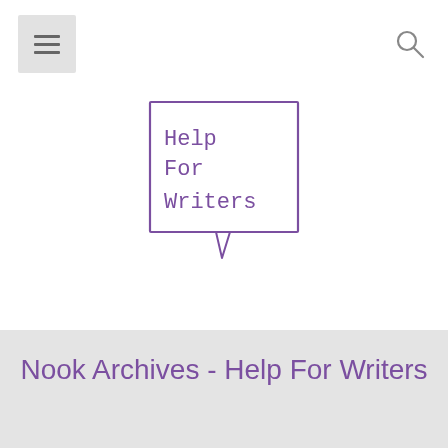[Figure (logo): Help For Writers speech bubble logo with purple border and handwritten-style text]
Nook Archives - Help For Writers
Why use an ebook distribution service?